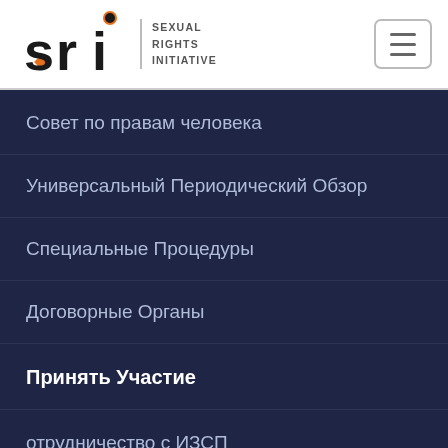[Figure (logo): SRI Sexual Rights Initiative logo with orange diamond accent and circular icon]
Совет по правам человека
Универсальный Периодический Обзор
Специальные Процедуры
Договорные Органы
Принять Участие
отрудничество с ИЗСП